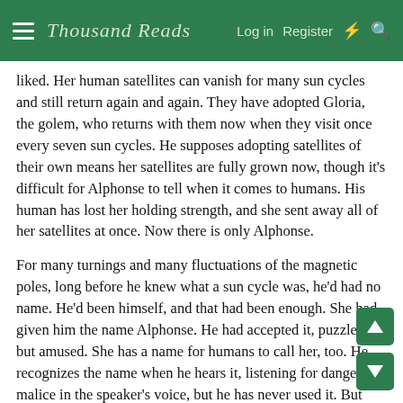Thousand Roads — Log in  Register
liked. Her human satellites can vanish for many sun cycles and still return again and again. They have adopted Gloria, the golem, who returns with them now when they visit once every seven sun cycles. He supposes adopting satellites of their own means her satellites are fully grown now, though it's difficult for Alphonse to tell when it comes to humans. His human has lost her holding strength, and she sent away all of her satellites at once. Now there is only Alphonse.
For many turnings and many fluctuations of the magnetic poles, long before he knew what a sun cycle was, he'd had no name. He'd been himself, and that had been enough. She had given him the name Alphonse. He had accepted it, puzzled but amused. She has a name for humans to call her, too. He recognizes the name when he hears it, listening for danger or malice in the speaker's voice, but he has never used it. But after many turnings spent with her, he has invented his own nickname for her. He turns toward her, and she guides him forward: she is North.